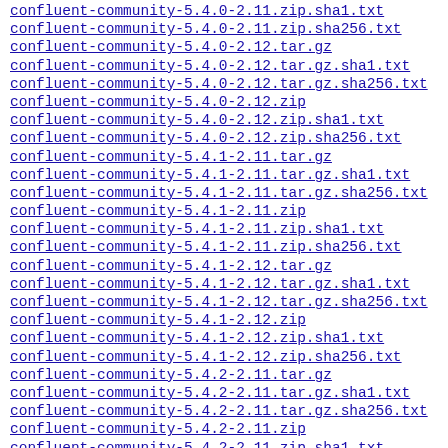confluent-community-5.4.0-2.11.zip.sha1.txt
confluent-community-5.4.0-2.11.zip.sha256.txt
confluent-community-5.4.0-2.12.tar.gz
confluent-community-5.4.0-2.12.tar.gz.sha1.txt
confluent-community-5.4.0-2.12.tar.gz.sha256.txt
confluent-community-5.4.0-2.12.zip
confluent-community-5.4.0-2.12.zip.sha1.txt
confluent-community-5.4.0-2.12.zip.sha256.txt
confluent-community-5.4.1-2.11.tar.gz
confluent-community-5.4.1-2.11.tar.gz.sha1.txt
confluent-community-5.4.1-2.11.tar.gz.sha256.txt
confluent-community-5.4.1-2.11.zip
confluent-community-5.4.1-2.11.zip.sha1.txt
confluent-community-5.4.1-2.11.zip.sha256.txt
confluent-community-5.4.1-2.12.tar.gz
confluent-community-5.4.1-2.12.tar.gz.sha1.txt
confluent-community-5.4.1-2.12.tar.gz.sha256.txt
confluent-community-5.4.1-2.12.zip
confluent-community-5.4.1-2.12.zip.sha1.txt
confluent-community-5.4.1-2.12.zip.sha256.txt
confluent-community-5.4.2-2.11.tar.gz
confluent-community-5.4.2-2.11.tar.gz.sha1.txt
confluent-community-5.4.2-2.11.tar.gz.sha256.txt
confluent-community-5.4.2-2.11.zip
confluent-community-5.4.2-2.11.zip.sha1.txt
confluent-community-5.4.2-2.11.zip.sha256.txt
confluent-community-5.4.2-2.12.tar.gz
confluent-community-5.4.2-2.12.tar.gz.sha1.txt
confluent-community-5.4.2-2.12.tar.gz.sha256.txt
confluent-community-5.4.2-2.12.zip